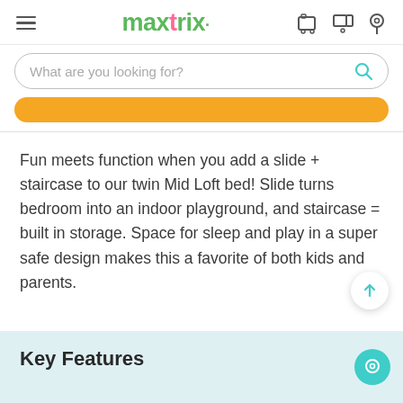maxtrix
What are you looking for?
Fun meets function when you add a slide + staircase to our twin Mid Loft bed! Slide turns bedroom into an indoor playground, and staircase = built in storage. Space for sleep and play in a super safe design makes this a favorite of both kids and parents.
Key Features